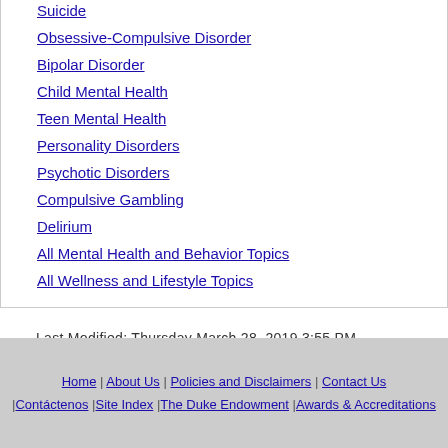Suicide
Obsessive-Compulsive Disorder
Bipolar Disorder
Child Mental Health
Teen Mental Health
Personality Disorders
Psychotic Disorders
Compulsive Gambling
Delirium
All Mental Health and Behavior Topics
All Wellness and Lifestyle Topics
Last Modified: Thursday March 28, 2019 3:55 PM
Home | About Us | Policies and Disclaimers | Contact Us | Contáctenos | Site Index | The Duke Endowment | Awards & Accreditations